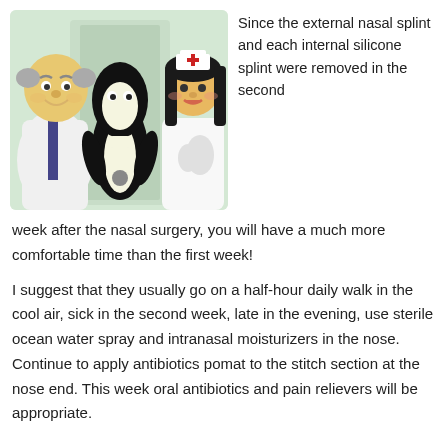[Figure (illustration): Cartoon illustration of a doctor (older man in white coat), a penguin-like character in the center, and a nurse (woman with dark hair wearing nurse cap with red cross) in a medical setting.]
Since the external nasal splint and each internal silicone splint were removed in the second week after the nasal surgery, you will have a much more comfortable time than the first week!
I suggest that they usually go on a half-hour daily walk in the cool air, sick in the second week, late in the evening, use sterile ocean water spray and intranasal moisturizers in the nose. Continue to apply antibiotics pomat to the stitch section at the nose end. This week oral antibiotics and pain relievers will be appropriate.